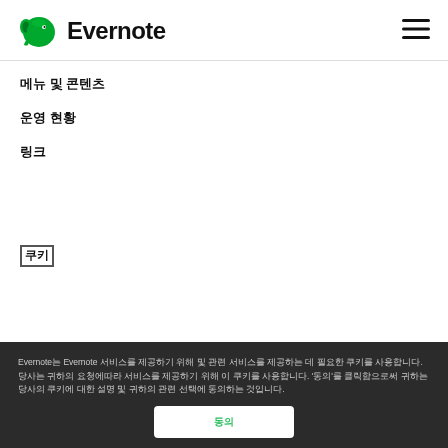[Figure (logo): Evernote green elephant logo with text 'Evernote']
메뉴 및 콘텐츠
운영 현황
링크
쿠키
Evernote는 Evernote 서비스를 제공하기 위해 및 관련 서비스를 제공하는 데 필요한 쿠키를 사용합니다. 당사는 귀하의 요청에따라 서비스를 제공하기 위해 이 쿠키를 사용합니다. '동의'를 클릭함으로써 귀하는 당사의 쿠키에 대한 설명 및 귀하의 관련 선택에 동의하는 것입니다.
동의